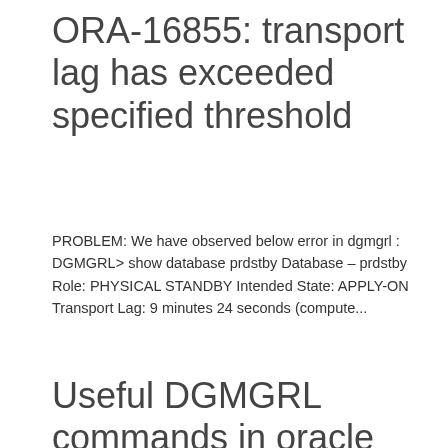ORA-16855: transport lag has exceeded specified threshold
PROBLEM: We have observed below error in dgmgrl : DGMGRL> show database prdstby Database – prdstby Role: PHYSICAL STANDBY Intended State: APPLY-ON Transport Lag: 9 minutes 24 seconds (compute...
Useful DGMGRL commands in oracle dataguard